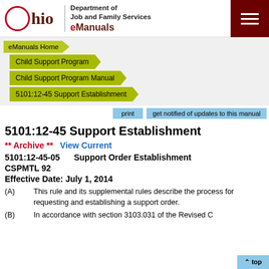Ohio Department of Job and Family Services eManuals
eManuals Home
Child Support Program
Child Support Program Manual
5101:12-45 Support Establishment
print   get notified of updates to this manual
5101:12-45 Support Establishment
** Archive **   View Current
5101:12-45-05     Support Order Establishment
CSPMTL 92
Effective Date: July 1, 2014
(A) This rule and its supplemental rules describe the process for requesting and establishing a support order.
(B) In accordance with section 3103.031 of the Revised C...